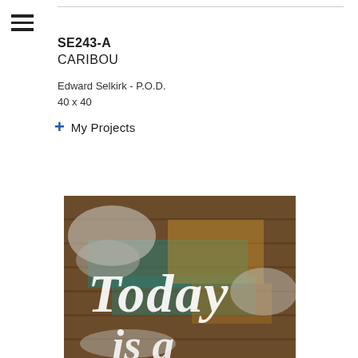SE243-A
CARIBOU
Edward Selkirk - P.O.D.
40 x 40
+ My Projects
[Figure (photo): Artwork image showing the word 'Today' painted in white script lettering on a weathered wooden background with brown and teal tones]